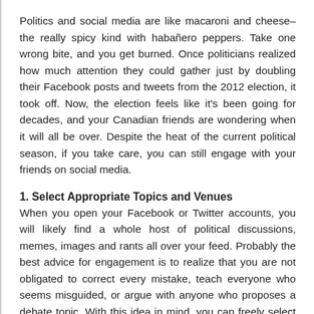Politics and social media are like macaroni and cheese–the really spicy kind with habañero peppers. Take one wrong bite, and you get burned. Once politicians realized how much attention they could gather just by doubling their Facebook posts and tweets from the 2012 election, it took off. Now, the election feels like it's been going for decades, and your Canadian friends are wondering when it will all be over. Despite the heat of the current political season, if you take care, you can still engage with your friends on social media.
1. Select Appropriate Topics and Venues
When you open your Facebook or Twitter accounts, you will likely find a whole host of political discussions, memes, images and rants all over your feed. Probably the best advice for engagement is to realize that you are not obligated to correct every mistake, teach everyone who seems misguided, or argue with anyone who proposes a debate topic. With this idea in mind, you can freely select the various campaign proposals and positions in any particular venue that you like. You might decide to engage people on your own turf by sharing news stories or asking questions, or